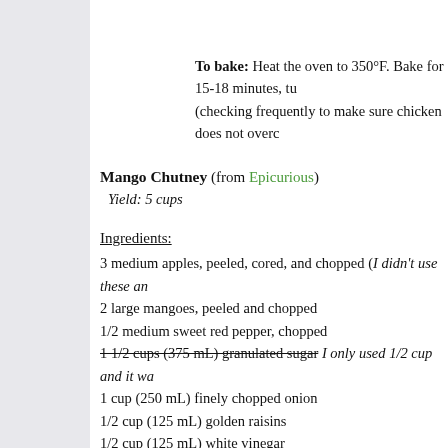To bake: Heat the oven to 350°F. Bake for 15-18 minutes, tu (checking frequently to make sure chicken does not overc
Mango Chutney (from Epicurious)
Yield: 5 cups
Ingredients:
3 medium apples, peeled, cored, and chopped (I didn't use these an
2 large mangoes, peeled and chopped
1/2 medium sweet red pepper, chopped
1 1/2 cups (375 mL) granulated sugar  I only used 1/2 cup and it wa
1 cup (250 mL) finely chopped onion
1/2 cup (125 mL) golden raisins
1/2 cup (125 mL) white vinegar
1/4 cup (50 mL) finely chopped peeled gingerroot
1 tablespoon (15 mL) lemon juice
2 teaspoons (10 mL) curry powder
1/2 teaspoon (2 mL) each: ground nutmeg, cinnamon, and salt
Directions:
1. Combine apples (optional), mangoes, red pepper, sugar, onion, ra steel or enamel saucepan. Bring to a boil over high heat, reduce hea until fruit is tender and mixture is thickened, stirring occasionally.